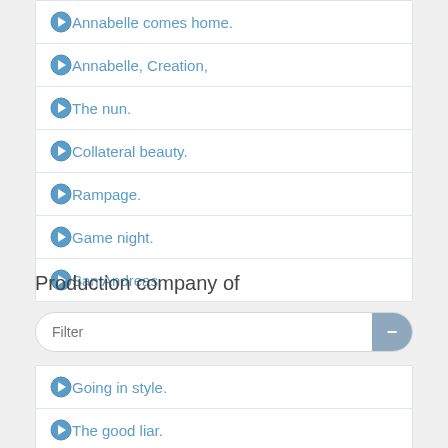Annabelle comes home.
Annabelle, Creation,
The nun.
Collateral beauty.
Rampage.
Game night.
San Andreas.
Production company of
Filter
Going in style.
The good liar.
Isn't it romantic.